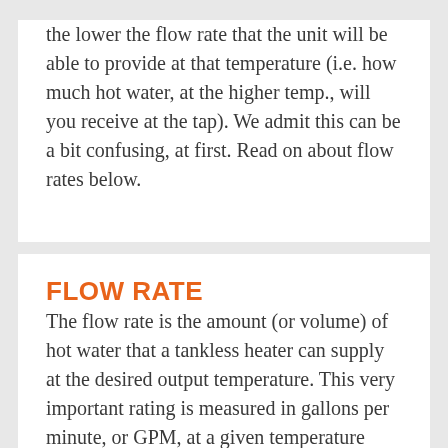the lower the flow rate that the unit will be able to provide at that temperature (i.e. how much hot water, at the higher temp., will you receive at the tap). We admit this can be a bit confusing, at first. Read on about flow rates below.
FLOW RATE
The flow rate is the amount (or volume) of hot water that a tankless heater can supply at the desired output temperature. This very important rating is measured in gallons per minute, or GPM, at a given temperature rise. The flow rate number directly relates to how much hot water at the desired temperature will be at your disposal, and therefore how many hot water-consuming plumbing appliances can be operated